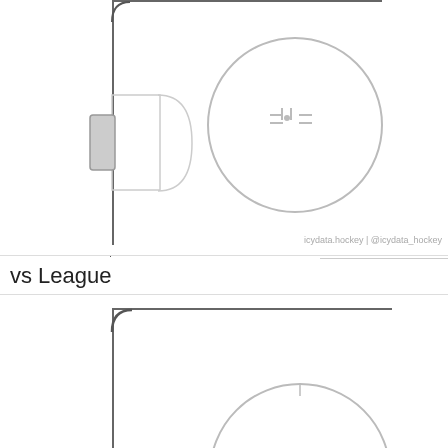[Figure (infographic): Top portion of a hockey rink diagram showing the defensive zone with faceoff circles, a heat map overlay on the right side showing shot location density in shades of pink/red, partially cropped at top.]
vs League
[Figure (infographic): Full hockey rink half-diagram showing defensive zone with two faceoff circles, center ice markings, and a heat map overlay on the right/offensive side. Shows percentage labels '3%' and '26%' in heat map zones. Watermark: icydata.hockey | @icydata_hockey]
Shots (heat)
[Figure (infographic): Bottom partial hockey rink diagram, cropped, showing the beginning of another rink visualization.]